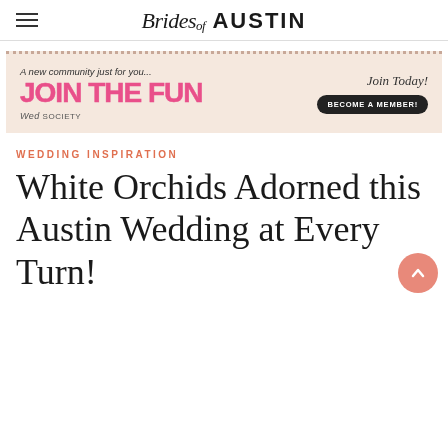Brides of AUSTIN
[Figure (infographic): Advertisement banner for Wed Society: 'A new community just for you... JOIN THE FUN — Join Today! BECOME A MEMBER!']
WEDDING INSPIRATION
White Orchids Adorned this Austin Wedding at Every Turn!